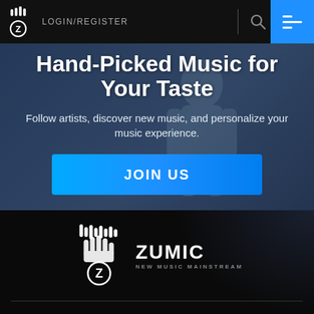LOGIN/REGISTER
Hand-Picked Music for Your Taste
Follow artists, discover new music, and personalize your music experience.
JOIN US
[Figure (logo): Zumic logo — hand/music bar icon with letter Z and text ZUMIC NEW MUSIC MAINSTREAM]